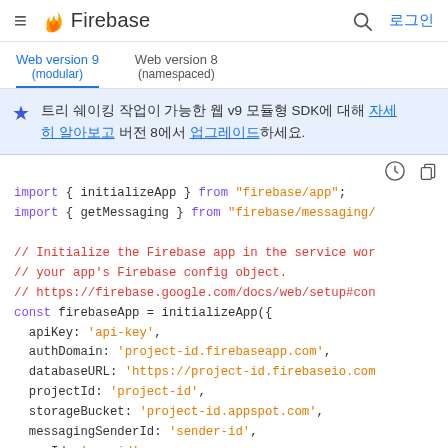Firebase — 로그인
Web version 9 (modular) | Web version 8 (namespaced)
트리 쉐이킹 작업이 가능한 웹 v9 모듈형 SDK에 대해 자세히 알아보고 버전 8에서 업그레이드하세요.
import { initializeApp } from "firebase/app";
import { getMessaging } from "firebase/messaging/"

// Initialize the Firebase app in the service wor
// your app's Firebase config object.
// https://firebase.google.com/docs/web/setup#con
const firebaseApp = initializeApp({
  apiKey: 'api-key',
  authDomain: 'project-id.firebaseapp.com',
  databaseURL: 'https://project-id.firebaseio.com
  projectId: 'project-id',
  storageBucket: 'project-id.appspot.com',
  messagingSenderId: 'sender-id',
  appId: 'app-id'